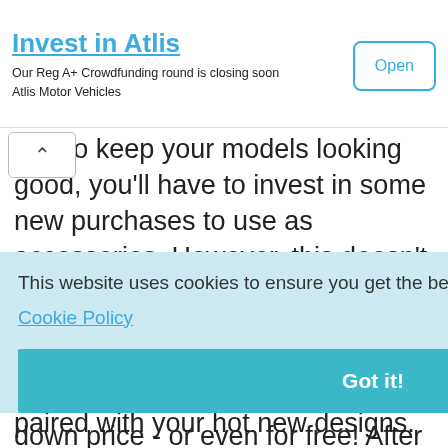[Figure (screenshot): Advertisement banner for 'Invest in Atlis' with text 'Our Reg A+ Crowdfunding round is closing soon / Atlis Motor Vehicles' and an 'Open' button with blue border.]
u're to keep your models looking good, you'll have to invest in some new purchases to use as accessories. However, this doesn't mean that you have to pay retail prices. Often you can negotiate with other designers to get the use of their accessories at a knock-down price - or even for free! After all, they get
[Figure (screenshot): Cookie consent banner with light blue background. Text: 'This website uses cookies to ensure you get the best experience on our website.' with a 'Cookie Policy' link and a teal 'Got it!' button. Partially covers the article text.]
ded,
s,
es to
when
paired with your hot new designs.